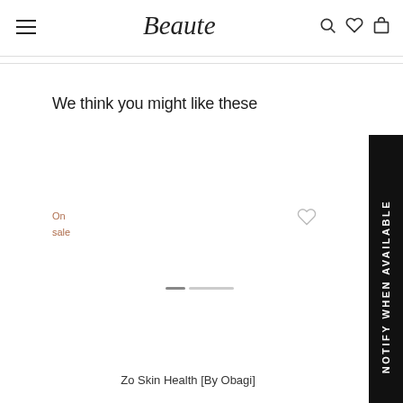Beaute
We think you might like these
On sale
NOTIFY WHEN AVAILABLE
Zo Skin Health [By Obagi]